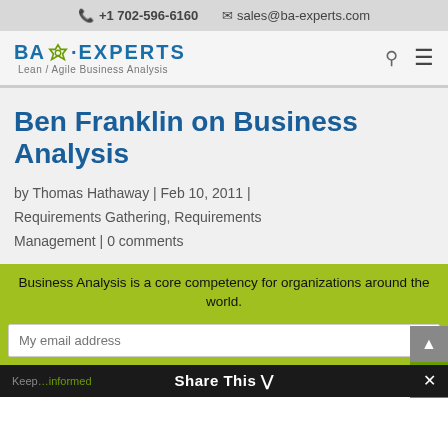+1 702-596-6160   sales@ba-experts.com
[Figure (logo): BA Experts logo with gear icon and tagline: Lean / Agile Business Analysis]
Ben Franklin on Business Analysis
by Thomas Hathaway | Feb 10, 2011 | Requirements Gathering, Requirements Management | 0 comments
Business Analysis is a core competency for organizations around the world.